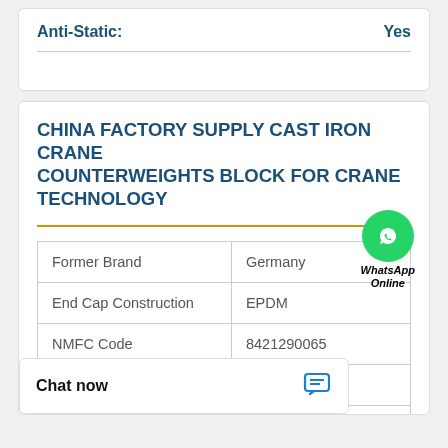| Anti-Static: | Yes |
CHINA FACTORY SUPPLY CAST IRON CRANE COUNTERWEIGHTS BLOCK FOR CRANE TECHNOLOGY
[Figure (logo): WhatsApp Online green circle logo with phone icon and text 'WhatsApp Online']
| Former Brand | Germany |
| End Cap Construction | EPDM |
| NMFC Code | 8421290065 |
| Flame Retardant | Yes |
|  | 180 °F (82 °C) |
Chat now